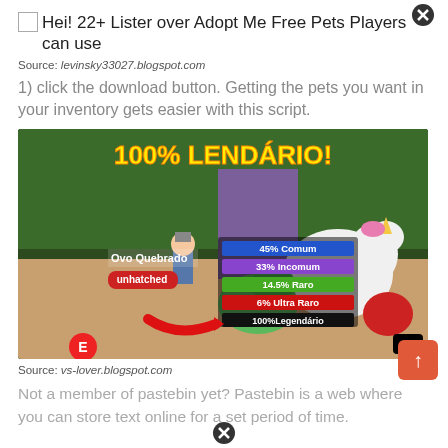Hei! 22+ Lister over Adopt Me Free Pets Players can use
Source: levinsky33027.blogspot.com
1) click the download button. Getting the pets you want in your inventory gets easier with this script.
[Figure (screenshot): Game screenshot showing '100% LENDÁRIO!' text in yellow with stats: 45% Comum (blue), 33% Incomum (purple), 14.5% Raro (green), 6% Ultra Raro (red), 100% Legendário (black). Shows Roblox game with character and pets including unicorn.]
Source: vs-lover.blogspot.com
Not a member of pastebin yet? Pastebin is a web where you can store text online for a set period of time.